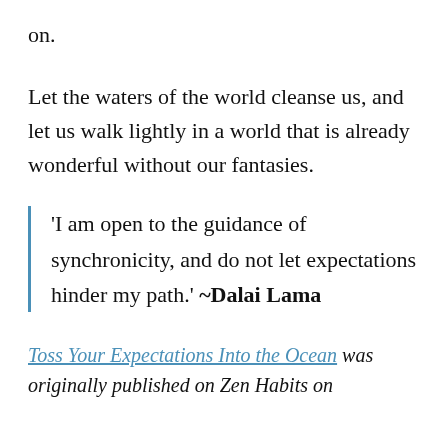on.
Let the waters of the world cleanse us, and let us walk lightly in a world that is already wonderful without our fantasies.
‘I am open to the guidance of synchronicity, and do not let expectations hinder my path.’ ~Dalai Lama
Toss Your Expectations Into the Ocean was originally published on Zen Habits on